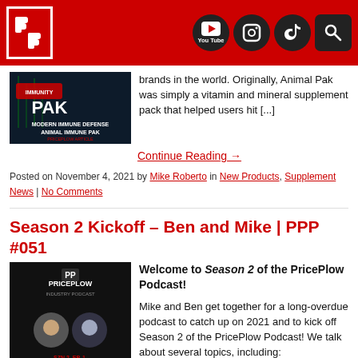PricePlow header with logo and social icons (YouTube, Instagram, TikTok, Search)
brands in the world. Originally, Animal Pak was simply a vitamin and mineral supplement pack that helped users hit [...]
[Figure (photo): Modern Immune Defense Animal Immune Pak - PricePlow Article image]
Continue Reading →
Posted on November 4, 2021 by Mike Roberto in New Products, Supplement News | No Comments
Season 2 Kickoff – Ben and Mike | PPP #051
[Figure (photo): PricePlow Industry Podcast Season 2 Episode 1 - Where Have We Been? 2021 Thus Far]
Welcome to Season 2 of the PricePlow Podcast!
Mike and Ben get together for a long-overdue podcast to catch up on 2021 and to kick off Season 2 of the PricePlow Podcast! We talk about several topics, including: